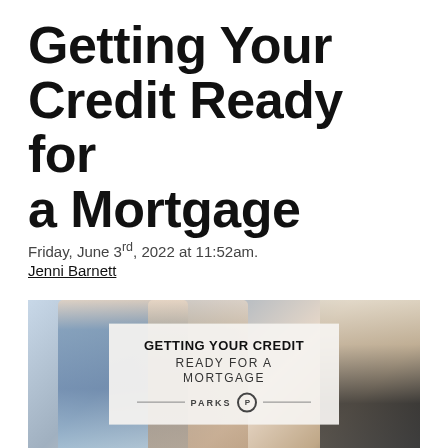Getting Your Credit Ready for a Mortgage
Friday, June 3rd, 2022 at 11:52am.
Jenni Barnett
[Figure (photo): A couple looking at a laptop together in a kitchen setting, with an overlay card reading 'GETTING YOUR CREDIT READY FOR A MORTGAGE' and the Parks logo below.]